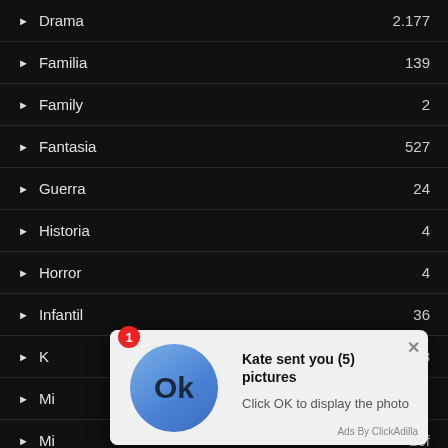Drama 2.177
Familia 139
Family 2
Fantasia 527
Guerra 24
Historia 4
Horror 4
Infantil 36
K... 48
Mi... (partial)
Mi... (partial)
[Figure (screenshot): Ad popup overlay: 'Kate sent you (5) pictures. Click OK to display the photo.' with a blue circle Ok button and notification badge showing 1. Ads By ClickAdilla attribution.]